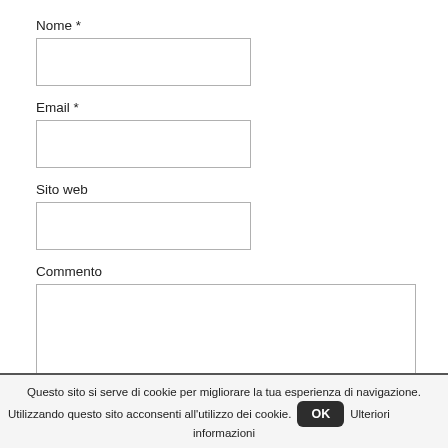Nome *
[Figure (other): Empty text input field for Nome]
Email *
[Figure (other): Empty text input field for Email]
Sito web
[Figure (other): Empty text input field for Sito web]
Commento
[Figure (other): Empty textarea for Commento]
Questo sito si serve di cookie per migliorare la tua esperienza di navigazione. Utilizzando questo sito acconsenti all'utilizzo dei cookie. OK Ulteriori informazioni